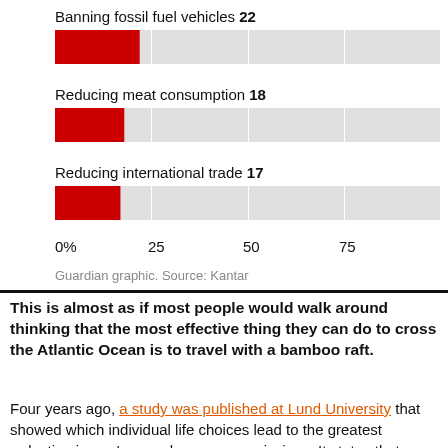[Figure (bar-chart): Banning fossil fuel vehicles / Reducing meat consumption / Reducing international trade]
Guardian graphic. Source: Kantar
This is almost as if most people would walk around thinking that the most effective thing they can do to cross the Atlantic Ocean is to travel with a bamboo raft.
Four years ago, a study was published at Lund University that showed which individual life choices lead to the greatest reduction in one's greenhouse gas emissions. It states that a